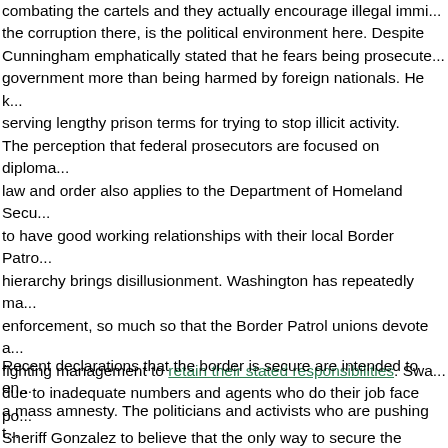combating the cartels and they actually encourage illegal immi... the corruption there, is the political environment here. Despite ... Cunningham emphatically stated that he fears being prosecuted ... government more than being harmed by foreign nationals. He k... serving lengthy prison terms for trying to stop illicit activity.
The perception that federal prosecutors are focused on diploma... law and order also applies to the Department of Homeland Secu... to have good working relationships with their local Border Patro... hierarchy brings disillusionment. Washington has repeatedly ma... enforcement, so much so that the Border Patrol unions devote a... fighting management to retain their stated responsibilities. Swa... due to inadequate numbers and agents who do their job face po... Sheriff Gonzalez to believe that the only way to secure the bord...
Recent declarations that the border is secure are intended to en... a mass amnesty. The politicians and activists who are pushing t... humanitarian terms, questioning the morality of those in opposi... understand is that amnesty benefits human smugglers. Their bu... booms every time a careless politician or commentator starts se... pathway to citizenship. Such talk creates chaos on the border a...